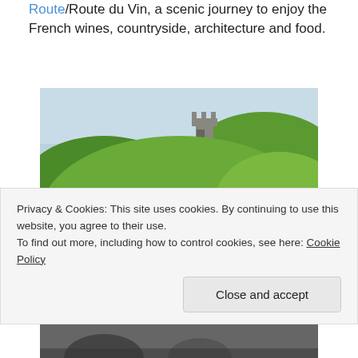Route/Route du Vin, a scenic journey to enjoy the French wines, countryside, architecture and food.
[Figure (photo): A couple smiling in front of a vineyard with a castle/tower on a green hillside in the background, likely in the Alsace wine region of France.]
Privacy & Cookies: This site uses cookies. By continuing to use this website, you agree to their use.
To find out more, including how to control cookies, see here: Cookie Policy